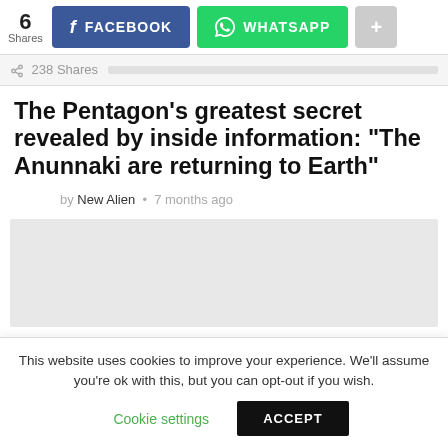[Figure (screenshot): Social sharing bar with Facebook and WhatsApp buttons, showing 6 shares count]
238 Shares
The Pentagon’s greatest secret revealed by inside information: “The Anunnaki are returning to Earth”
by New Alien • 7 months ago
[Figure (other): Advertisement placeholder block (gray)]
This website uses cookies to improve your experience. We’ll assume you’re ok with this, but you can opt-out if you wish.
Cookie settings   ACCEPT